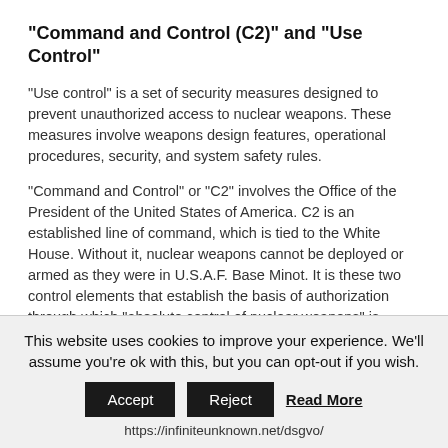“Command and Control (C2)” and “Use Control”
“Use control” is a set of security measures designed to prevent unauthorized access to nuclear weapons. These measures involve weapons design features, operational procedures, security, and system safety rules.
“Command and Control” or “C2” involves the Office of the President of the United States of America. C2 is an established line of command, which is tied to the White House. Without it, nuclear weapons cannot be deployed or armed as they were in U.S.A.F. Base Minot. It is these two control elements that establish the basis of authorization through which “absolute control of nuclear weapons” is maintained “at all times.”
In addition to the checks and balances in place in regards to handling nuclear weapons, the Defence Threat Reduction Agency (DTRA) and its partners manually and
This website uses cookies to improve your experience. We’ll assume you’re ok with this, but you can opt-out if you wish.
Accept | Reject | Read More
https://infiniteunknown.net/dsgvo/